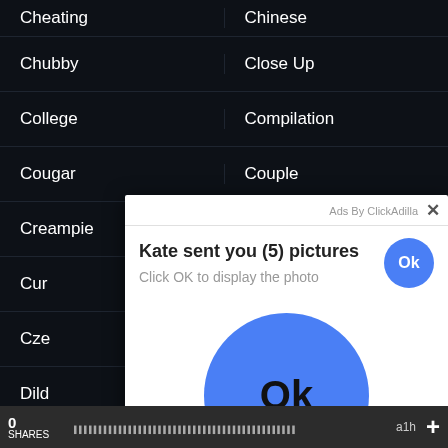Cheating | Chinese
Chubby | Close Up
College | Compilation
Cougar | Couple
Creampie | Cuckold
Cum... | (partial)
Cze... | (partial)
Dild... | (partial)
Dog... | (partial)
Dou... | (partial)
[Figure (screenshot): Ad overlay popup: 'Ads By ClickAdilla' with close X button. Text: 'Kate sent you (5) pictures' and 'Click OK to display the photo'. Small blue circle Ok button top right. Large blue circle Ok button in center of popup.]
0 SHARES | a1h | +